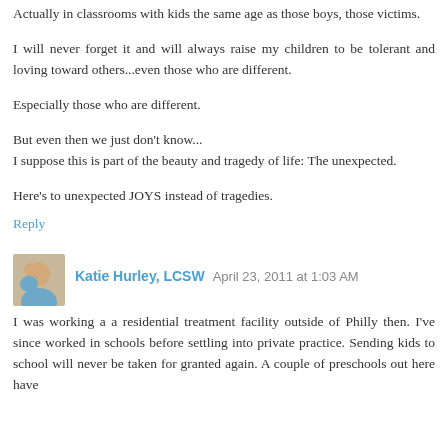Actually in classrooms with kids the same age as those boys, those victims.
I will never forget it and will always raise my children to be tolerant and loving toward others...even those who are different.
Especially those who are different.
But even then we just don't know...
I suppose this is part of the beauty and tragedy of life: The unexpected.
Here's to unexpected JOYS instead of tragedies.
Reply
Katie Hurley, LCSW  April 23, 2011 at 1:03 AM
I was working a a residential treatment facility outside of Philly then. I've since worked in schools before settling into private practice. Sending kids to school will never be taken for granted again. A couple of preschools out here have